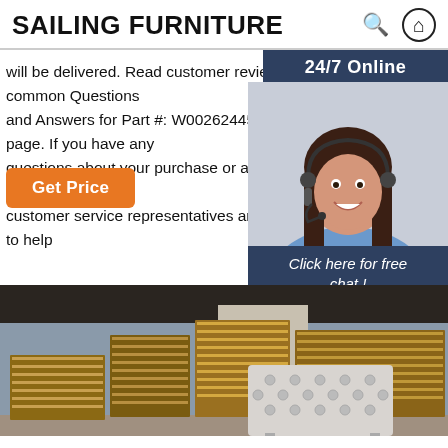SAILING FURNITURE
will be delivered. Read customer reviews and common Questions and Answers for Part #: W002624453 on this page. If you have any questions about your purchase or any other product f... customer service representatives are available to help
Get Price
[Figure (photo): Customer service representative woman wearing headset, smiling, with '24/7 Online' banner and 'Click here for free chat! QUOTATION' call-to-action panel]
[Figure (photo): Warehouse stacked with wooden planks/lumber and an upholstered tufted white headboard furniture piece in the foreground]